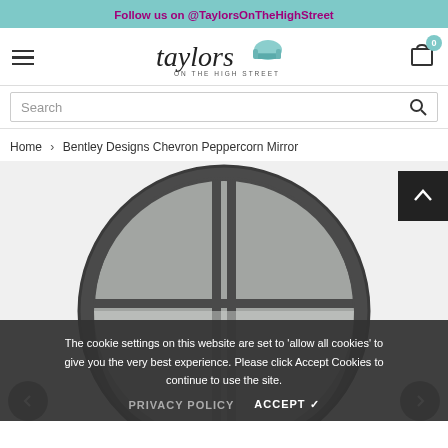Follow us on @TaylorsOnTheHighStreet
[Figure (logo): Taylors On The High Street logo with hamburger menu and cart icon showing 0 items]
Search
Home › Bentley Designs Chevron Peppercorn Mirror
[Figure (photo): Bentley Designs Chevron Peppercorn Mirror - large round dark-framed window-style mirror with geometric pane divisions]
The cookie settings on this website are set to 'allow all cookies' to give you the very best experience. Please click Accept Cookies to continue to use the site.
PRIVACY POLICY    ACCEPT ✓